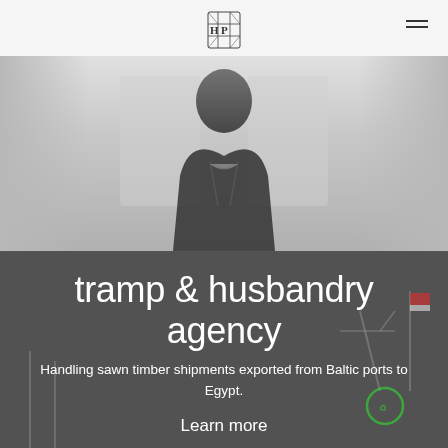[Figure (logo): Stylized monogram logo with letters H and P in a decorative grid/crest style, dark grey]
[Figure (photo): Grayscale photograph of a person in dark clothing against a light architectural background, upper body visible]
tramp & husbandry agency
Handling sawn timber shipments exported from Baltic ports to Egypt.
Learn more
[Figure (photo): Grayscale photograph of port/harbor with cranes, flags and shipping equipment in the background of the dark section]